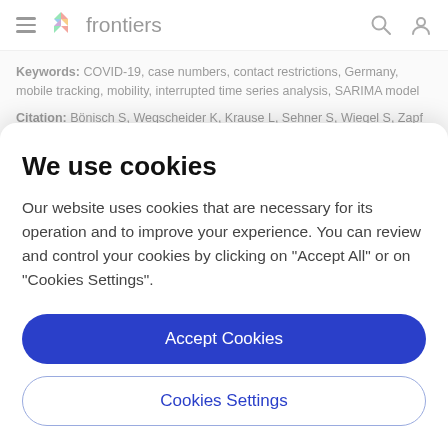frontiers
Keywords: COVID-19, case numbers, contact restrictions, Germany, mobile tracking, mobility, interrupted time series analysis, SARIMA model
Citation: Bönisch S, Wegscheider K, Krause L, Sehner S, Wiegel S, Zapf A, Moser S and Becher H (2020) Effects of Coronavirus Disease (COVID-19) Related Contact Restrictions in Germany, March to May 2020, on the
We use cookies
Our website uses cookies that are necessary for its operation and to improve your experience. You can review and control your cookies by clicking on "Accept All" or on "Cookies Settings".
Accept Cookies
Cookies Settings